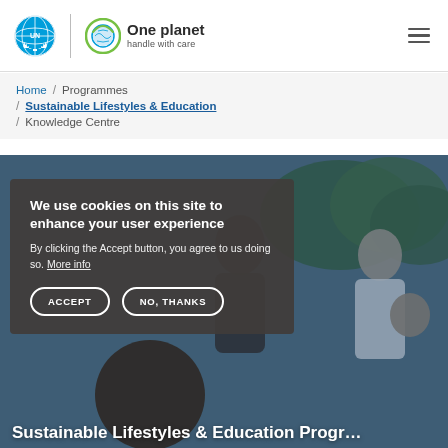One planet handle with care
Home / Programmes / Sustainable Lifestyles & Education / Knowledge Centre
We use cookies on this site to enhance your user experience
By clicking the Accept button, you agree to us doing so. More info
ACCEPT   NO, THANKS
[Figure (photo): People outdoors, partially visible, with a blue tinted overlay. A cookie consent dialog is overlaid on a hero image banner.]
Sustainable Lifestyles & Education Progr…